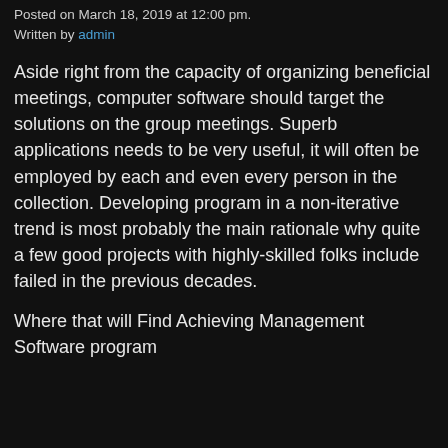Posted on March 18, 2019 at 12:00 pm.
Written by admin
Aside right from the capacity of organizing beneficial meetings, computer software should target the solutions on the group meetings. Superb applications needs to be very useful, it will often be employed by each and even every person in the collection. Developing program in a non-iterative trend is most probably the main rationale why quite a few good projects with highly-skilled folks include failed in the previous decades.
Where that will Find Achieving Management Software program
According to some writers, individuals to use...